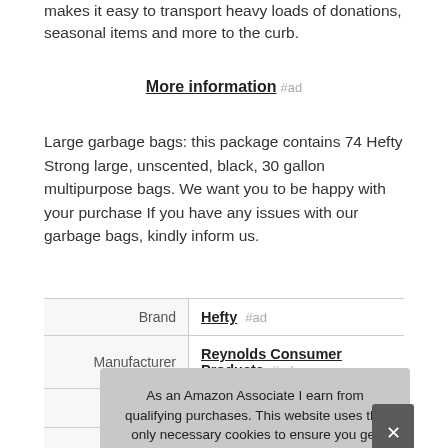makes it easy to transport heavy loads of donations, seasonal items and more to the curb.
More information #ad
Large garbage bags: this package contains 74 Hefty Strong large, unscented, black, 30 gallon multipurpose bags. We want you to be happy with your purchase If you have any issues with our garbage bags, kindly inform us.
|  |  |
| --- | --- |
| Brand | Hefty #ad |
| Manufacturer | Reynolds Consumer Products #ad |
As an Amazon Associate I earn from qualifying purchases. This website uses the only necessary cookies to ensure you get the best experience on our website. More information
|  |  |
| --- | --- |
| Width | 9.5 Inches |